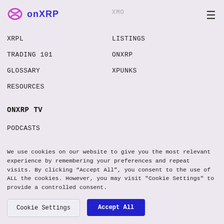onXRP — navigation menu open
XRPL
LISTINGS
TRADING 101
ONXRP
GLOSSARY
XPUNKS
RESOURCES
ONXRP TV
PODCASTS
We use cookies on our website to give you the most relevant experience by remembering your preferences and repeat visits. By clicking “Accept All”, you consent to the use of ALL the cookies. However, you may visit "Cookie Settings" to provide a controlled consent.
Cookie Settings
Accept All